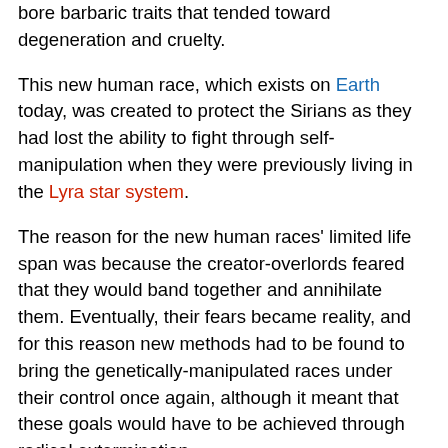bore barbaric traits that tended toward degeneration and cruelty.
This new human race, which exists on Earth today, was created to protect the Sirians as they had lost the ability to fight through self-manipulation when they were previously living in the Lyra star system.
The reason for the new human races' limited life span was because the creator-overlords feared that they would band together and annihilate them. Eventually, their fears became reality, and for this reason new methods had to be found to bring the genetically-manipulated races under their control once again, although it meant that these goals would have to be achieved through radical extermination.
Since the creator-overlords were more powerful than the genetically-manipulated humans those found but one recourse and that was to flee, which they did with help from benevolent supporters in the Sirius regions. At the same